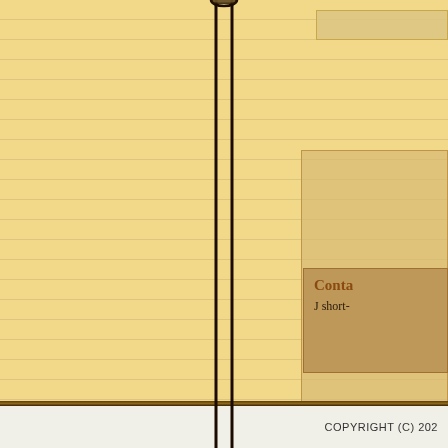[Figure (illustration): Spiral-bound notebook page with yellow/tan lined paper background, showing the spiral binding in the center, two UI overlay boxes on the upper right, and a content box labeled 'Conta...' with text 'J short-' visible at bottom right. A horizontal border line separates the notebook from the white footer area.]
Conta
J short-
COPYRIGHT (C) 202